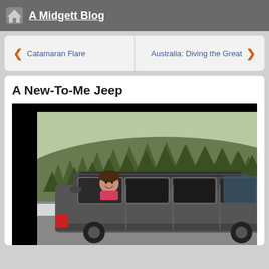A Midgett Blog
< Catamaran Flare   Australia: Diving the Great >
A New-To-Me Jeep
[Figure (photo): A dark gray Jeep SUV with roof rack parked outdoors, a smiling woman leaning out of the driver's window, with a forested hillside in the background.]